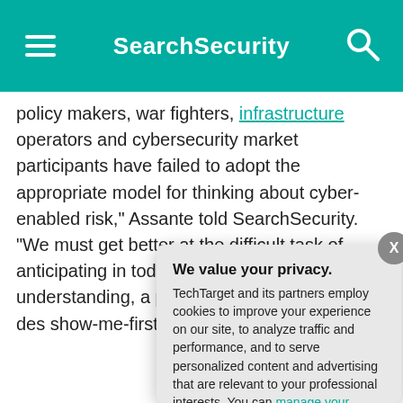SearchSecurity
policy makers, war fighters, infrastructure operators and cybersecurity market participants have failed to adopt the appropriate model for thinking about cyber-enabled risk," Assante told SearchSecurity. "We must get better at the difficult task of anticipating in today's software-defined understanding, a prerequisite, as afford for its des show-me-first un
Next Steps
Learn how the D vulnerability of th
We value your privacy. TechTarget and its partners employ cookies to improve your experience on our site, to analyze traffic and performance, and to serve personalized content and advertising that are relevant to your professional interests. You can manage your settings at any time. Please view our Privacy Policy for more information